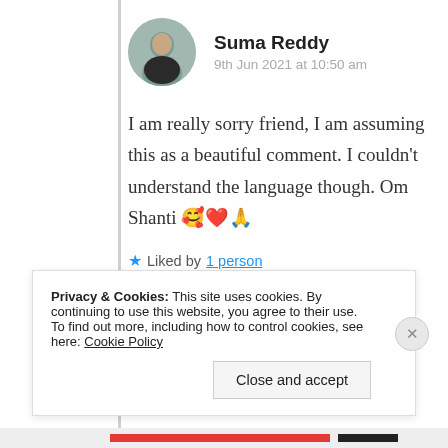Suma Reddy
9th Jun 2021 at 10:50 am
I am really sorry friend, I am assuming this as a beautiful comment. I couldn't understand the language though. Om Shanti 🥰❤️🙏
★ Liked by 1 person
Log in to Reply
Privacy & Cookies: This site uses cookies. By continuing to use this website, you agree to their use.
To find out more, including how to control cookies, see here: Cookie Policy
Close and accept